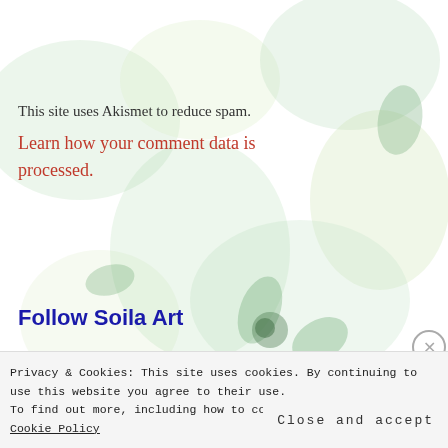This site uses Akismet to reduce spam.
Learn how your comment data is processed.
Follow Soila Art
PAGES
Privacy & Cookies: This site uses cookies. By continuing to use this website you agree to their use.
To find out more, including how to control cookies, see here: Cookie Policy
Close and accept